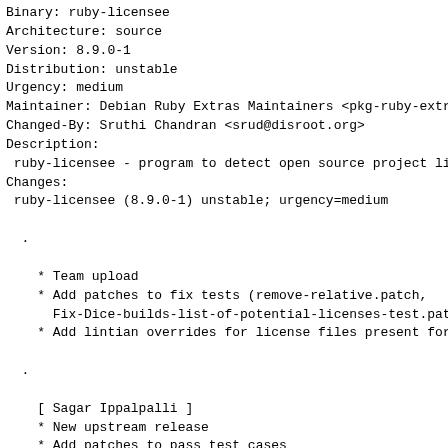Binary: ruby-licensee
Architecture: source
Version: 8.9.0-1
Distribution: unstable
Urgency: medium
Maintainer: Debian Ruby Extras Maintainers <pkg-ruby-extr
Changed-By: Sruthi Chandran <srud@disroot.org>
Description:
 ruby-licensee - program to detect open source project li
Changes:
 ruby-licensee (8.9.0-1) unstable; urgency=medium

  .

    * Team upload
    * Add patches to fix tests (remove-relative.patch,
      Fix-Dice-builds-list-of-potential-licenses-test.patc
    * Add lintian overrides for license files present for

  .

    [ Sagar Ippalpalli ]
    * New upstream release
    * Add patches to pass test cases

  .

    [ Abhijith PA ]
    * New patch need_real_looking_mail_id.patch
    * New Build-Depends ruby-rspec, ruby-coveralls, git
Checksums-Sha1:
 ec54f18d8591cc6964dc9fae171b4d4faf7a90d9 2144 ruby-licen
 ba96f1d7b9cda5ac0ca85b5ac9f4d945c2fdf4a6 163770 ruby-lic
 bb9566740f7ca529ceab85e5a4ad29c33ebbd233 3788 ruby-licen
 37a0faf374909d539311d1c1f8ace2a48b5242f5 8238 ruby-licen
Checksums-Sha256:
 ad5b0073099d08b000ccb57540c30c155d031dc03f64c0c00c741